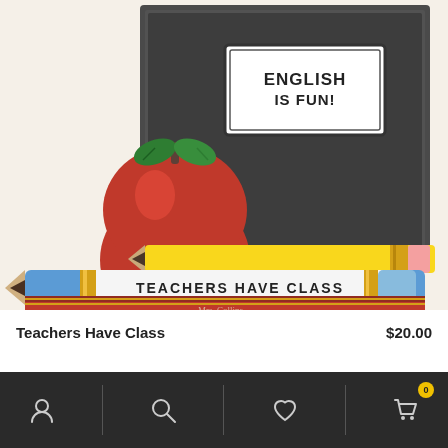[Figure (photo): A decorative teacher-themed magnet or ornament featuring a black composition notebook labeled 'English Is Fun!', a red apple with green leaves, a yellow pencil, a large blue and white pencil reading 'TEACHERS HAVE CLASS', and a red book at the bottom.]
Teachers Have Class
$20.00
Navigation bar with account, search, wishlist, and cart (0) icons